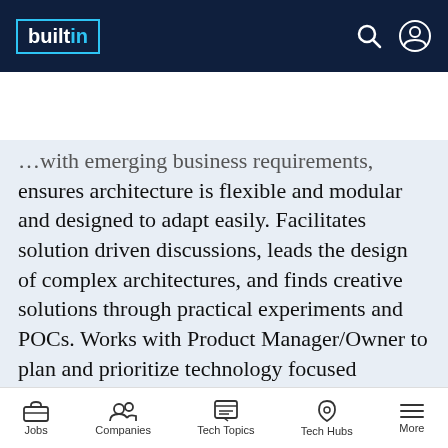[Figure (screenshot): builtin website navigation bar with logo and search/account icons on dark navy background]
[Figure (screenshot): Apply Now button in teal blue and Save option with star icon]
...with emerging business requirements, ensures architecture is flexible and modular and designed to adapt easily. Facilitates solution driven discussions, leads the design of complex architectures, and finds creative solutions through practical experiments and POCs. Works with Product Manager/Owner to plan and prioritize technology focused backlog items for the architecture runway to enable business epics/features and expand
[Figure (screenshot): Bottom navigation bar with Jobs, Companies, Tech Topics, Tech Hubs, and More icons]